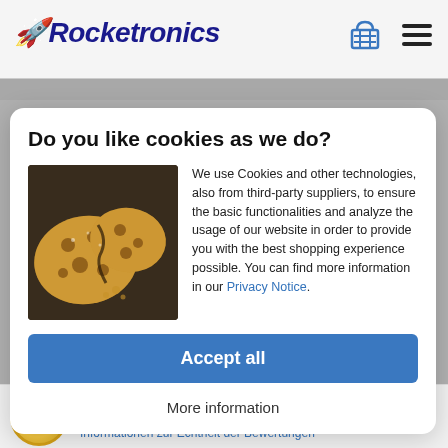Rocketronics
Do you like cookies as we do?
[Figure (photo): Photo of chocolate chip cookies broken apart on a dark surface]
We use Cookies and other technologies, also from third-party suppliers, to ensure the basic functionalities and analyze the usage of our website in order to provide you with the best shopping experience possible. You can find more information in our Privacy Notice.
Accept all
More information
SEHR GUT (4.90 / 5) 143 Bewertungen bei SHOPVOTE Informationen zur Echtheit der Bewertungen